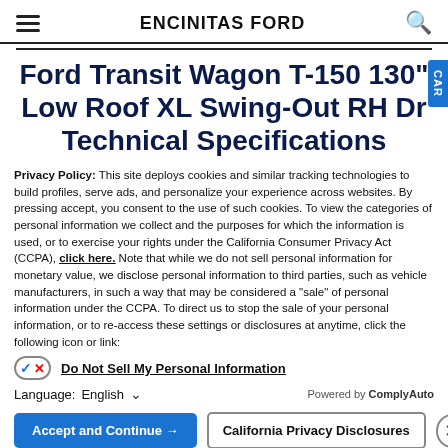ENCINITAS FORD
Ford Transit Wagon T-150 130" Low Roof XL Swing-Out RH Dr Technical Specifications
Privacy Policy: This site deploys cookies and similar tracking technologies to build profiles, serve ads, and personalize your experience across websites. By pressing accept, you consent to the use of such cookies. To view the categories of personal information we collect and the purposes for which the information is used, or to exercise your rights under the California Consumer Privacy Act (CCPA), click here. Note that while we do not sell personal information for monetary value, we disclose personal information to third parties, such as vehicle manufacturers, in such a way that may be considered a "sale" of personal information under the CCPA. To direct us to stop the sale of your personal information, or to re-access these settings or disclosures at anytime, click the following icon or link:
Do Not Sell My Personal Information
Language: English
Powered by ComplyAuto
Accept and Continue → California Privacy Disclosures